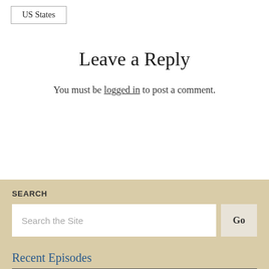US States
Leave a Reply
You must be logged in to post a comment.
SEARCH
Search the Site
Go
Recent Episodes